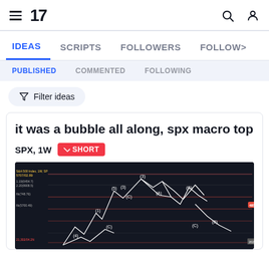TradingView header with logo, hamburger menu, search and user icons
IDEAS  SCRIPTS  FOLLOWERS  FOLLOWING
PUBLISHED  COMMENTED  FOLLOWING
Filter ideas
it was a bubble all along, spx macro top
SPX, 1W  SHORT
[Figure (screenshot): TradingView chart of S&P 500 index (SPX) weekly timeframe showing Elliott Wave analysis with labeled waves (1),(2),(3),(4),(5),(A),(B),(C) and price levels including 4851.M annotation, dark background with white wave lines]